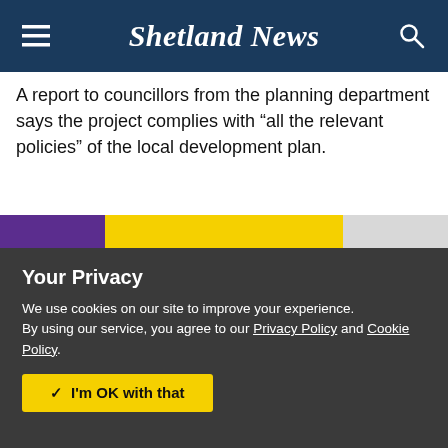Shetland News
A report to councillors from the planning department says the project complies with “all the relevant policies” of the local development plan.
[Figure (infographic): Advertisement strip showing three panels: left panel with purple background and white text 'been by', center panel with yellow background showing 'Maskot.' logo and 'SIGNAGE' text below, right panel with grey background.]
Your Privacy
We use cookies on our site to improve your experience.
By using our service, you agree to our Privacy Policy and Cookie Policy.
I'm OK with that